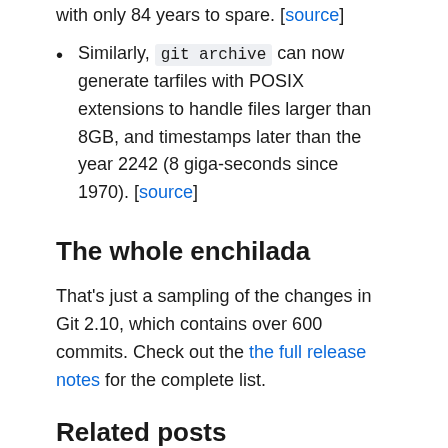with only 84 years to spare. [source]
Similarly, git archive can now generate tarfiles with POSIX extensions to handle files larger than 8GB, and timestamps later than the year 2242 (8 giga-seconds since 1970). [source]
The whole enchilada
That's just a sampling of the changes in Git 2.10, which contains over 600 commits. Check out the full release notes for the complete list.
Related posts